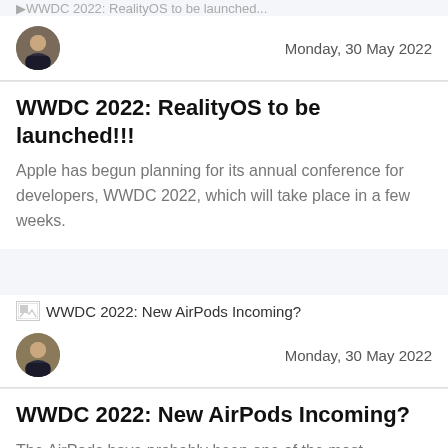[Figure (other): Truncated article thumbnail/header bar at top of page]
[Figure (photo): Circular avatar photo of author]
Monday, 30 May 2022
WWDC 2022: RealityOS to be launched!!!
Apple has begun planning for its annual conference for developers, WWDC 2022, which will take place in a few weeks.
[Figure (other): Thumbnail image link: WWDC 2022: New AirPods Incoming?]
[Figure (photo): Circular avatar photo of author]
Monday, 30 May 2022
WWDC 2022: New AirPods Incoming?
The AirPods have probably been one of the most successful products that Apple has released to date.